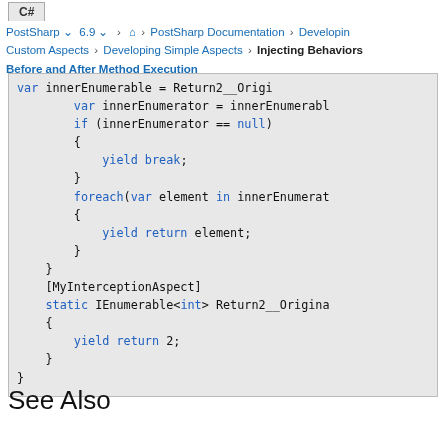C# | PostSharp 6.9 > PostSharp Documentation > Developing Custom Aspects > Developing Simple Aspects > Injecting Behaviors Before and After Method Execution
[Figure (screenshot): Code block showing C# code with var innerEnumerator, if block with yield break, foreach block with yield return element, [MyInterceptionAspect] attribute, static IEnumerable<int> Return2__Origina method with yield return 2]
See Also